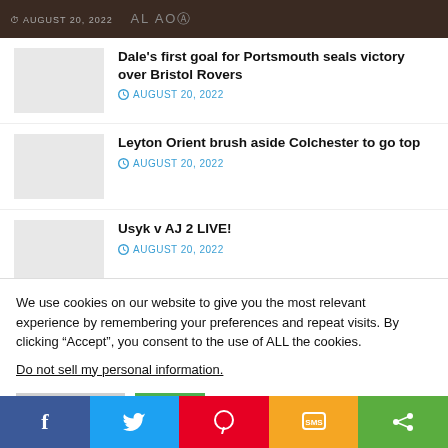AUGUST 20, 2022
Dale's first goal for Portsmouth seals victory over Bristol Rovers — AUGUST 20, 2022
Leyton Orient brush aside Colchester to go top — AUGUST 20, 2022
Usyk v AJ 2 LIVE! — AUGUST 20, 2022
We use cookies on our website to give you the most relevant experience by remembering your preferences and repeat visits. By clicking “Accept”, you consent to the use of ALL the cookies.
Do not sell my personal information.